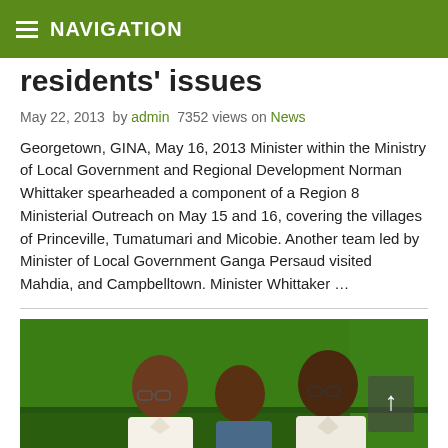NAVIGATION
residents' issues
May 22, 2013  by admin  7352 views on News
Georgetown, GINA, May 16, 2013 Minister within the Ministry of Local Government and Regional Development Norman Whittaker spearheaded a component of a Region 8 Ministerial Outreach on May 15 and 16, covering the villages of Princeville, Tumatumari and Micobie. Another team led by Minister of Local Government Ganga Persaud visited Mahdia, and Campbelltown. Minister Whittaker …
[Figure (photo): Three men in white shirts in a green-walled room, one wearing glasses, engaged in conversation. A scroll-up button overlay is visible on the right.]